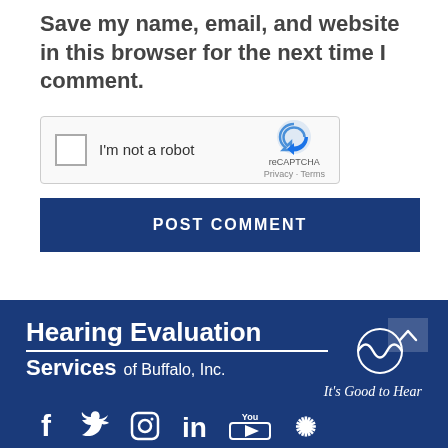Save my name, email, and website in this browser for the next time I comment.
[Figure (screenshot): reCAPTCHA widget with checkbox labeled 'I'm not a robot', reCAPTCHA logo and Privacy/Terms links]
POST COMMENT
[Figure (logo): Hearing Evaluation Services of Buffalo, Inc. logo with waveform icon and tagline 'It's Good to Hear']
[Figure (infographic): Social media icons: Facebook, Twitter, Instagram, LinkedIn, YouTube, Yelp]